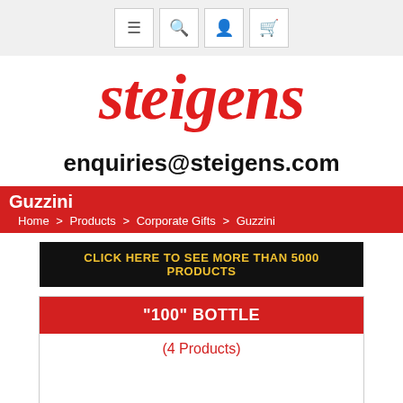icons header navigation bar
steigens
enquiries@steigens.com
Guzzini — Home > Products > Corporate Gifts > Guzzini
CLICK HERE TO SEE MORE THAN 5000 PRODUCTS
"100" BOTTLE
(4 Products)